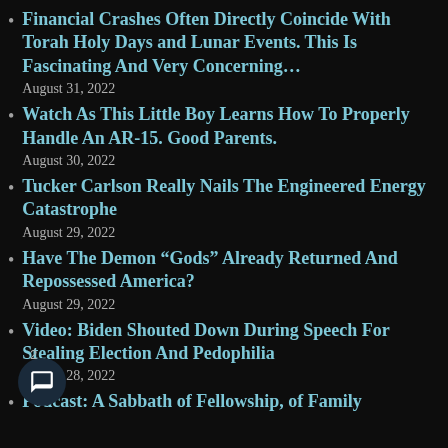Financial Crashes Often Directly Coincide With Torah Holy Days and Lunar Events. This Is Fascinating And Very Concerning…
August 31, 2022
Watch As This Little Boy Learns How To Properly Handle An AR-15. Good Parents.
August 30, 2022
Tucker Carlson Really Nails The Engineered Energy Catastrophe
August 29, 2022
Have The Demon “Gods” Already Returned And Repossessed America?
August 29, 2022
Video: Biden Shouted Down During Speech For Stealing Election And Pedophilia
August 28, 2022
Podcast: A Sabbath of Fellowship, of Family